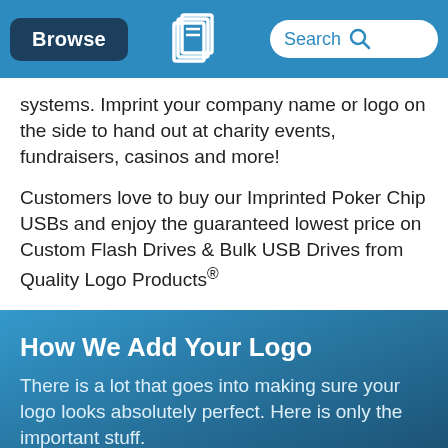Browse | [Logo] | Search
systems. Imprint your company name or logo on the side to hand out at charity events, fundraisers, casinos and more!
Customers love to buy our Imprinted Poker Chip USBs and enjoy the guaranteed lowest price on Custom Flash Drives & Bulk USB Drives from Quality Logo Products®
How We Add Your Logo
There is a lot that goes into making sure your logo looks absolutely perfect. Here is only the important stuff.
Where will my logo appear?